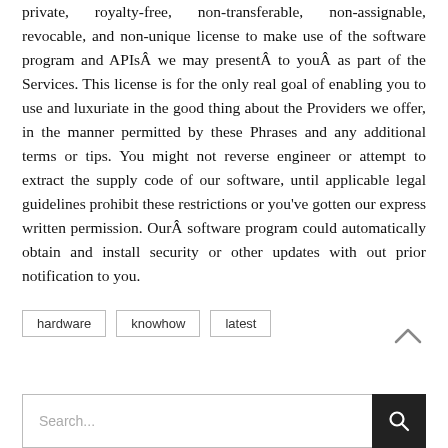private, royalty-free, non-transferable, non-assignable, revocable, and non-unique license to make use of the software program and APIs we may present to you as part of the Services. This license is for the only real goal of enabling you to use and luxuriate in the good thing about the Providers we offer, in the manner permitted by these Phrases and any additional terms or tips. You might not reverse engineer or attempt to extract the supply code of our software, until applicable legal guidelines prohibit these restrictions or you've gotten our express written permission. Our software program could automatically obtain and install security or other updates with out prior notification to you.
hardware
knowhow
latest